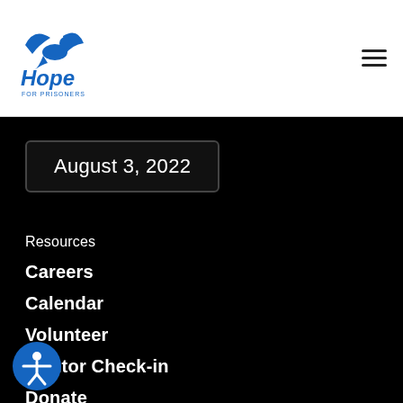[Figure (logo): Hope For Prisoners logo with blue dove icon and stylized text]
August 3, 2022
Resources
Careers
Calendar
Volunteer
Mentor Check-in
Donate
Board Login